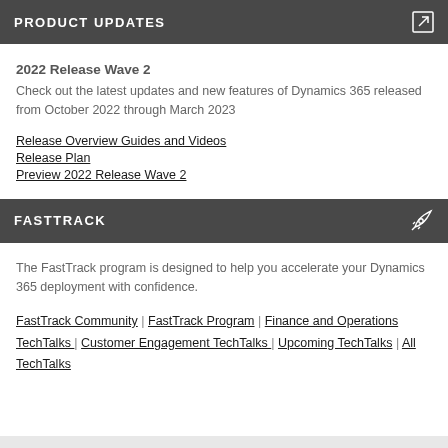PRODUCT UPDATES
2022 Release Wave 2
Check out the latest updates and new features of Dynamics 365 released from October 2022 through March 2023
Release Overview Guides and Videos
Release Plan
Preview 2022 Release Wave 2
FASTTRACK
The FastTrack program is designed to help you accelerate your Dynamics 365 deployment with confidence.
FastTrack Community | FastTrack Program | Finance and Operations TechTalks | Customer Engagement TechTalks | Upcoming TechTalks | All TechTalks